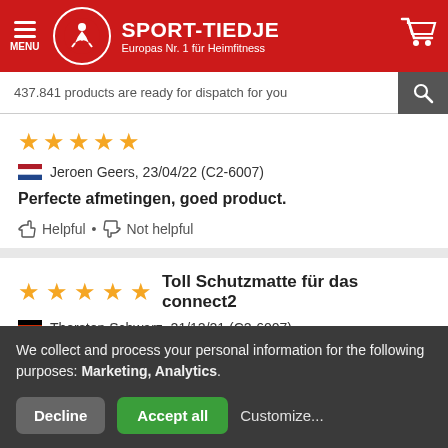[Figure (screenshot): Sport-Tiedje website header with red background, hamburger menu icon, logo with skater icon, brand name SPORT-TIEDJE, tagline Europas Nr. 1 für Heimfitness, and shopping cart icon]
437.841 products are ready for dispatch for you
[Figure (other): Five gold stars rating]
Jeroen Geers, 23/04/22 (C2-6007)
Perfecte afmetingen, goed product.
Helpful • Not helpful
[Figure (other): Five gold stars rating]
Toll Schutzmatte für das connect2
Thorsten Schwarz, 21/12/21 (C2-6007)
Ich bin dem Connect 2 und der Schutzmatte super
We collect and process your personal information for the following purposes: Marketing, Analytics.
Decline
Accept all
Customize...